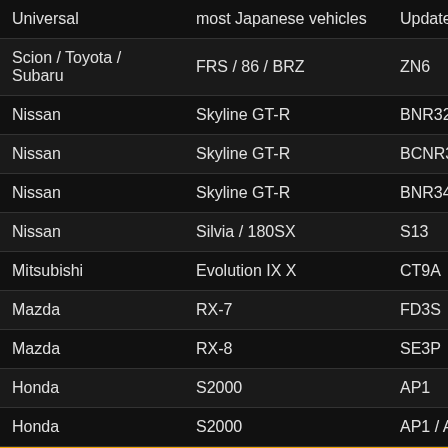| Make | Model | Chassis |
| --- | --- | --- |
| Universal | most Japanese vehicles | Updated M… |
| Scion / Toyota / Subaru | FRS / 86 / BRZ | ZN6 |
| Nissan | Skyline GT-R | BNR32 / H… |
| Nissan | Skyline GT-R | BCNR33 /… |
| Nissan | Skyline GT-R | BNR34 |
| Nissan | Silvia / 180SX | S13 |
| Mitsubishi | Evolution IX X | CT9A |
| Mazda | RX-7 | FD3S |
| Mazda | RX-8 | SE3P |
| Honda | S2000 | AP1 |
| Honda | S2000 | AP1 / AP2 |
| Honda | S2000 | AP1 / AP2 |
• Make... Honda